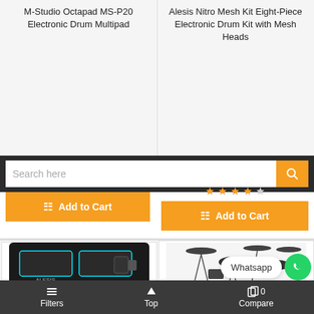M-Studio Octapad MS-P20 Electronic Drum Multipad
Alesis Nitro Mesh Kit Eight-Piece Electronic Drum Kit with Mesh Heads
Search here
Add to Cart
Add to Cart
[Figure (photo): Photo of Alesis electronic drum pad controller (M-Studio Octapad MS-P20)]
[Figure (photo): Photo of Alesis Nitro Mesh electronic drum kit set]
Whatsapp
Filters
Top
0 Compare